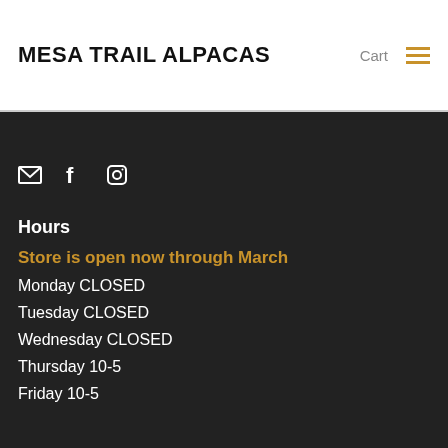MESA TRAIL ALPACAS
Cart
[Figure (other): Hamburger menu icon (three horizontal yellow lines)]
[Figure (other): Social media icons: email envelope, Facebook f, Instagram camera]
Hours
Store is open now through March
Monday CLOSED
Tuesday CLOSED
Wednesday CLOSED
Thursday 10-5
Friday 10-5